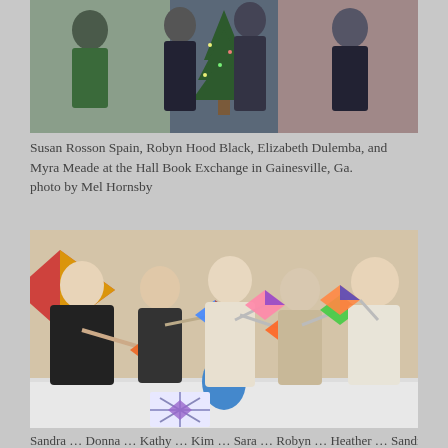[Figure (photo): Group photo of Susan Rosson Spain, Robyn Hood Black, Elizabeth Dulemba, and Myra Meade at the Hall Book Exchange in Gainesville, Ga. People standing in front of a Christmas tree.]
Susan Rosson Spain, Robyn Hood Black, Elizabeth Dulemba, and Myra Meade at the Hall Book Exchange in Gainesville, Ga.
photo by Mel Hornsby
[Figure (photo): Group photo of five women holding decorative kite-shaped items on sticks, standing at a table with a blue centerpiece. A white tablecloth-covered table is in the foreground.]
Sandra … Donna … Kathy … Kim … Sara … Robyn … Heather … Sandra …